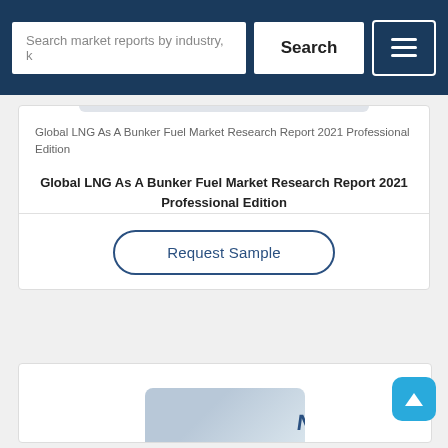Search market reports by industry, k  Search
Global LNG As A Bunker Fuel Market Research Report 2021 Professional Edition
Global LNG As A Bunker Fuel Market Research Report 2021 Professional Edition
[Figure (screenshot): Request Sample button - rounded pill button with navy border]
[Figure (photo): Partial image of a report cover visible at bottom of page]